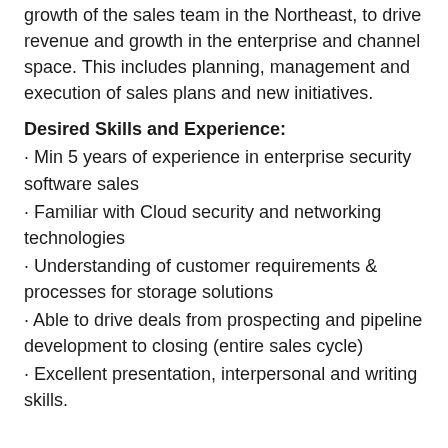growth of the sales team in the Northeast, to drive revenue and growth in the enterprise and channel space. This includes planning, management and execution of sales plans and new initiatives.
Desired Skills and Experience:
· Min 5 years of experience in enterprise security software sales
· Familiar with Cloud security and networking technologies
· Understanding of customer requirements & processes for storage solutions
· Able to drive deals from prospecting and pipeline development to closing (entire sales cycle)
· Excellent presentation, interpersonal and writing skills.